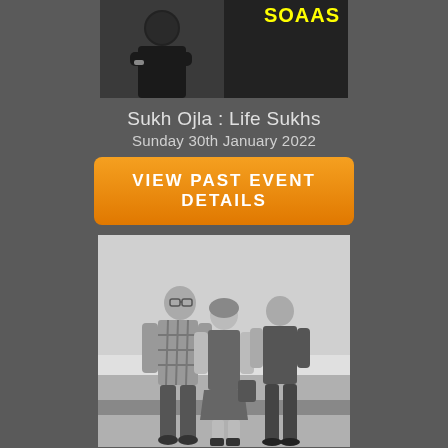[Figure (photo): Top portion showing partial image of a man with arms crossed in black outfit on left, and a dark panel with yellow 'SOAAS' text on right]
Sukh Ojla : Life Sukhs
Sunday 30th January 2022
VIEW PAST EVENT DETAILS
[Figure (photo): Black and white photo of three people standing outdoors near water. A tall man in plaid shirt on left, a woman in a short dress in the center, and a younger man in a t-shirt on the right.]